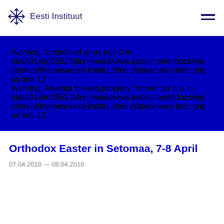Eesti Instituut
Warning: Undefined array key 0 in /data01/virt63523/domeenid/www.estinst.ee/htdocs/wp-content/themes/eesti-instituut/templates/news-item.php on line 13

Warning: Attempt to read property "name" on null in /data01/virt63523/domeenid/www.estinst.ee/htdocs/wp-content/themes/eesti-instituut/templates/news-item.php on line 13
Orthodox Easter in Setomaa, 7-8 April
07.04.2018 — 08.04.2018